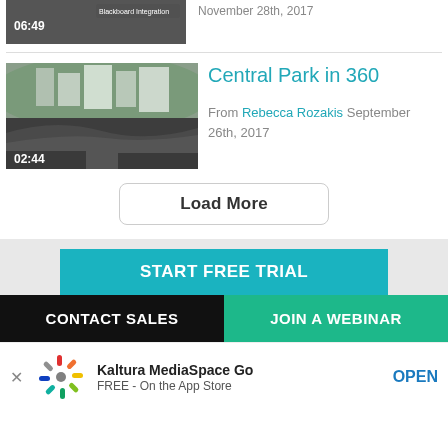[Figure (screenshot): Video thumbnail showing dark background with timestamp 06:49 and Blackboard Integration badge]
November 28th, 2017
Central Park in 360
[Figure (photo): 360-degree video thumbnail of Central Park with city skyline, timestamp 02:44]
From Rebecca Rozakis September 26th, 2017
Load More
START FREE TRIAL
CONTACT SALES
JOIN A WEBINAR
Kaltura MediaSpace Go
FREE - On the App Store
OPEN